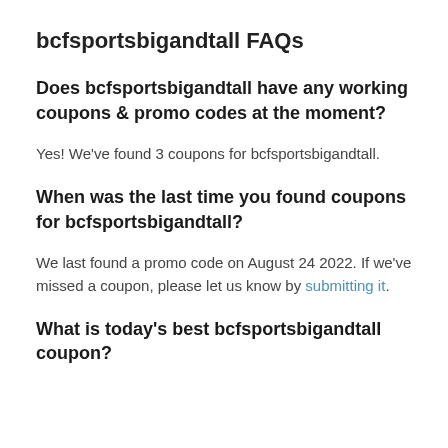bcfsportsbigandtall FAQs
Does bcfsportsbigandtall have any working coupons & promo codes at the moment?
Yes! We've found 3 coupons for bcfsportsbigandtall.
When was the last time you found coupons for bcfsportsbigandtall?
We last found a promo code on August 24 2022. If we've missed a coupon, please let us know by submitting it.
What is today's best bcfsportsbigandtall coupon?